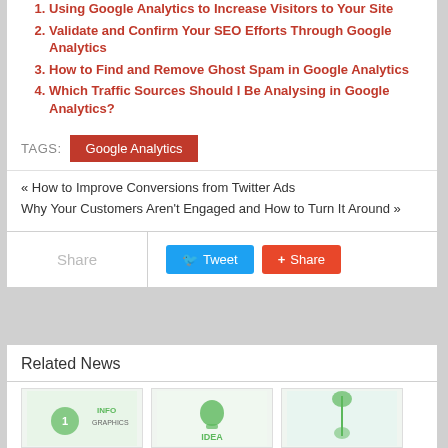1. Using Google Analytics to Increase Visitors to Your Site
2. Validate and Confirm Your SEO Efforts Through Google Analytics
3. How to Find and Remove Ghost Spam in Google Analytics
4. Which Traffic Sources Should I Be Analysing in Google Analytics?
TAGS: Google Analytics
« How to Improve Conversions from Twitter Ads
Why Your Customers Aren't Engaged and How to Turn It Around »
Share  Tweet  Share
Related News
[Figure (infographic): Related news infographic thumbnails with lightbulb and idea imagery]